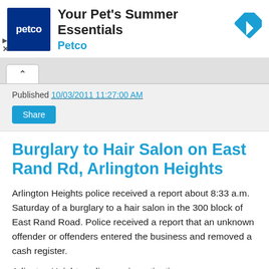[Figure (screenshot): Petco advertisement banner with Petco logo (dark blue square with 'petco' text), headline 'Your Pet's Summer Essentials', brand name 'Petco' in blue, and a blue diamond navigation icon on the right.]
Published 10/03/2011 11:27:00 AM
Share
Burglary to Hair Salon on East Rand Rd, Arlington Heights
Arlington Heights police received a report about 8:33 a.m. Saturday of a burglary to a hair salon in the 300 block of East Rand Road. Police received a report that an unknown offender or offenders entered the business and removed a cash register.
Arlington Heights police are investigating.